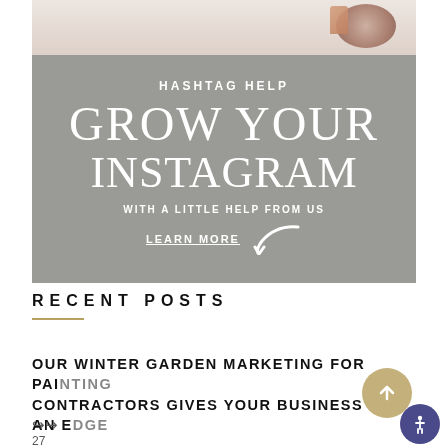[Figure (photo): Partial photo of a desk scene with coffee cup and metal binder clip, cropped at top]
[Figure (infographic): Gray banner ad with text: HASHTAG HELP / GROW YOUR INSTAGRAM / WITH A LITTLE HELP FROM US / LEARN MORE with a curved arrow pointing left]
RECENT POSTS
OUR WINTER GARDEN MARKETING FOR PAINTING CONTRACTORS GIVES YOUR BUSINESS AN EDGE
27